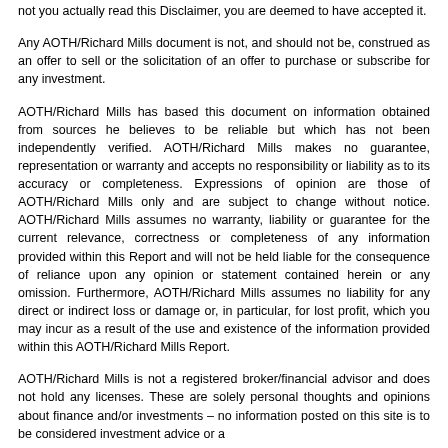not you actually read this Disclaimer, you are deemed to have accepted it.
Any AOTH/Richard Mills document is not, and should not be, construed as an offer to sell or the solicitation of an offer to purchase or subscribe for any investment.
AOTH/Richard Mills has based this document on information obtained from sources he believes to be reliable but which has not been independently verified. AOTH/Richard Mills makes no guarantee, representation or warranty and accepts no responsibility or liability as to its accuracy or completeness. Expressions of opinion are those of AOTH/Richard Mills only and are subject to change without notice. AOTH/Richard Mills assumes no warranty, liability or guarantee for the current relevance, correctness or completeness of any information provided within this Report and will not be held liable for the consequence of reliance upon any opinion or statement contained herein or any omission. Furthermore, AOTH/Richard Mills assumes no liability for any direct or indirect loss or damage or, in particular, for lost profit, which you may incur as a result of the use and existence of the information provided within this AOTH/Richard Mills Report.
AOTH/Richard Mills is not a registered broker/financial advisor and does not hold any licenses. These are solely personal thoughts and opinions about finance and/or investments – no information posted on this site is to be considered investment advice or a